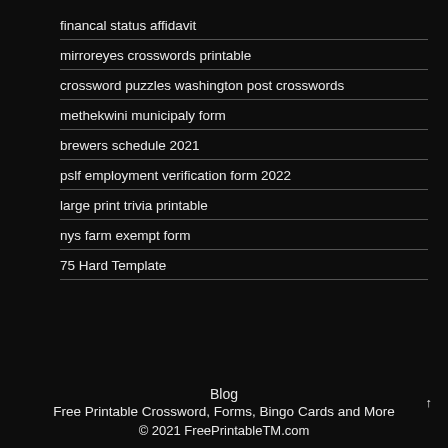financal status affidavit
mirroreyes crosswords printable
crossword puzzles washington post crosswords
methekwini municipaly form
brewers schedule 2021
pslf employment verification form 2022
large print trivia printable
nys farm exempt form
75 Hard Template
Blog
Free Printable Crossword, Forms, Bingo Cards and More
© 2021 FreePrintableTM.com